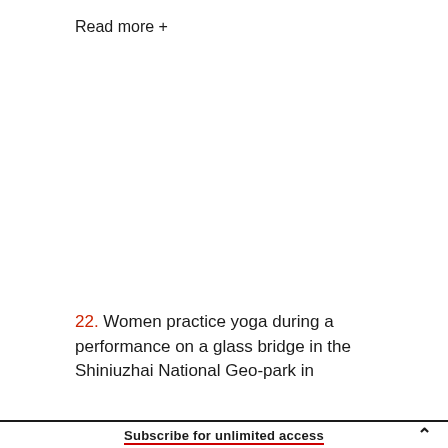Read more +
22. Women practice yoga during a performance on a glass bridge in the Shiniuzhai National Geo-park in
Subscribe for unlimited access